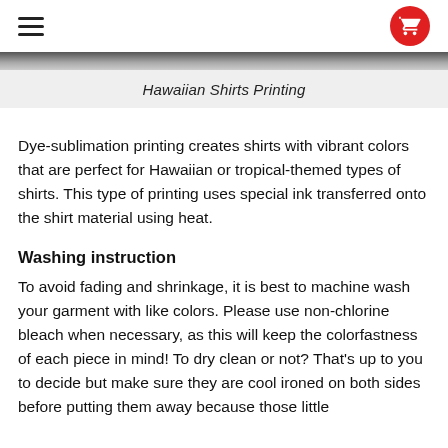≡  [cart icon]
[Figure (photo): Partial view of Hawaiian shirts image strip at top of page]
Hawaiian Shirts Printing
Dye-sublimation printing creates shirts with vibrant colors that are perfect for Hawaiian or tropical-themed types of shirts. This type of printing uses special ink transferred onto the shirt material using heat.
Washing instruction
To avoid fading and shrinkage, it is best to machine wash your garment with like colors. Please use non-chlorine bleach when necessary, as this will keep the colorfastness of each piece in mind! To dry clean or not? That's up to you to decide but make sure they are cool ironed on both sides before putting them away because those little